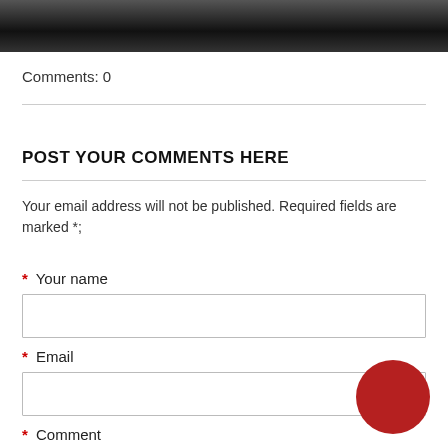[Figure (photo): Black and white photo strip at top of page, partial view of person]
Comments: 0
POST YOUR COMMENTS HERE
Your email address will not be published. Required fields are marked *;
* Your name
* Email
* Comment